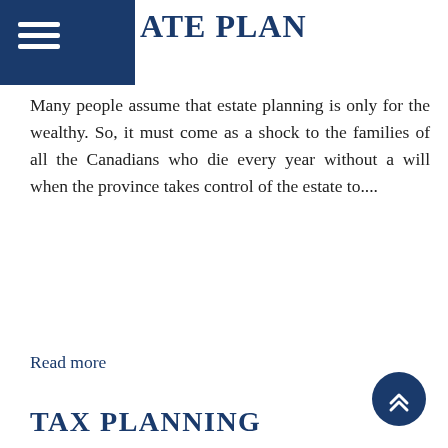ATE PLAN
Many people assume that estate planning is only for the wealthy. So, it must come as a shock to the families of all the Canadians who die every year without a will when the province takes control of the estate to....
Read more
TAX PLANNING
Taxes are a fact of life. They affect every Canadian in most aspects of their lives. Whether it's earning an income, making a purchase, owning real property, investing, running a business, or...
Read more
RETIREMENT PLANNING